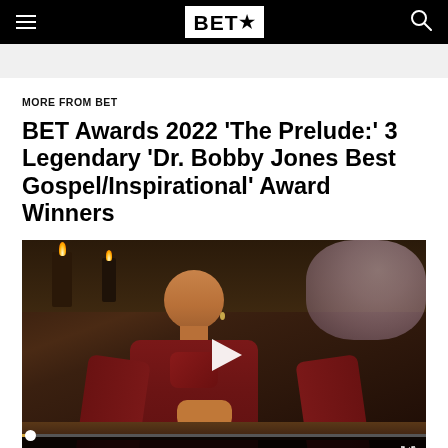BET★
MORE FROM BET
BET Awards 2022 'The Prelude:' 3 Legendary 'Dr. Bobby Jones Best Gospel/Inspirational' Award Winners
[Figure (screenshot): Video player showing a woman with a shaved head wearing a dark red/burgundy blouse, seated in a dimly lit room. A play button is visible in the center. Video controls including a progress bar, time display, volume control, and fullscreen button are shown at the bottom.]